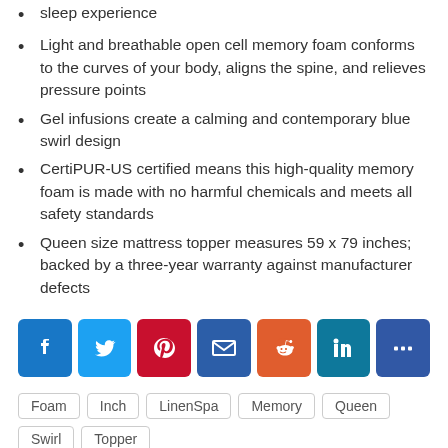sleep experience
Light and breathable open cell memory foam conforms to the curves of your body, aligns the spine, and relieves pressure points
Gel infusions create a calming and contemporary blue swirl design
CertiPUR-US certified means this high-quality memory foam is made with no harmful chemicals and meets all safety standards
Queen size mattress topper measures 59 x 79 inches; backed by a three-year warranty against manufacturer defects
[Figure (infographic): Social share buttons: Facebook, Twitter, Pinterest, Email, Reddit, LinkedIn, More]
Foam  Inch  LinenSpa  Memory  Queen  Swirl  Topper
[Figure (other): Five empty star rating icons]
(No Ratings Yet)